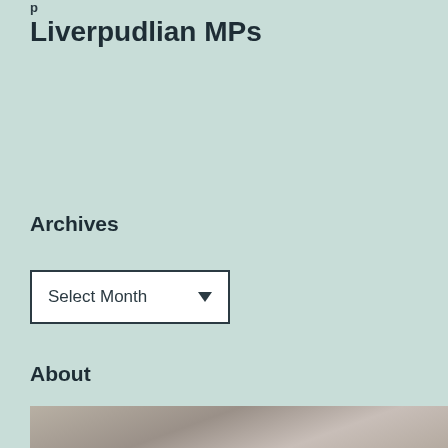Liverpudlian MPs
Archives
[Figure (screenshot): A dropdown select box showing 'Select Month' with a downward arrow indicator, styled with white background and dark border]
About
[Figure (photo): A black and white or greyscale photograph of a person, partially visible at the bottom of the page]